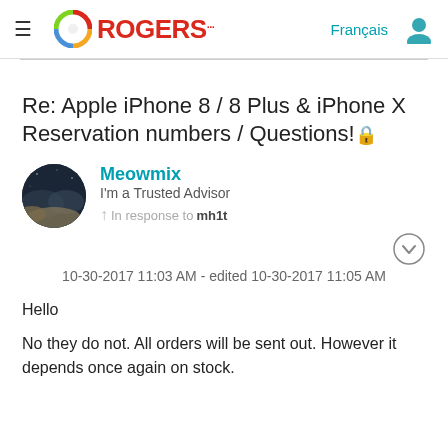Rogers community forum header with logo, hamburger menu, Français link and user icon
Re: Apple iPhone 8 / 8 Plus & iPhone X Reservation numbers / Questions!
Meowmix
I'm a Trusted Advisor
In response to mh1t
10-30-2017 11:03 AM - edited 10-30-2017 11:05 AM
Hello
No they do not. All orders will be sent out. However it depends once again on stock.